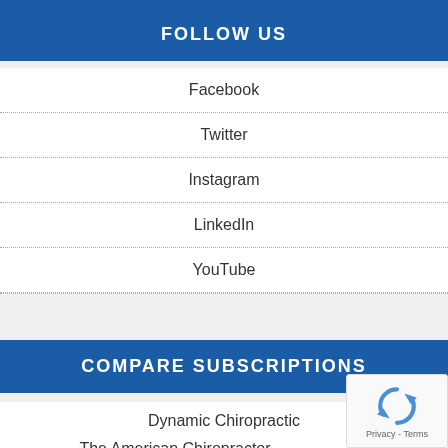FOLLOW US
Facebook
Twitter
Instagram
LinkedIn
YouTube
COMPARE SUBSCRIPTIONS
Dynamic Chiropractic
The American Chiropractor